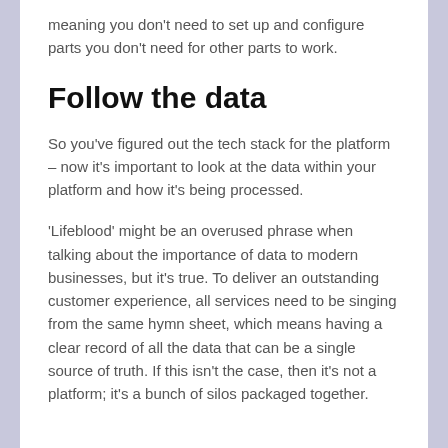meaning you don't need to set up and configure parts you don't need for other parts to work.
Follow the data
So you've figured out the tech stack for the platform – now it's important to look at the data within your platform and how it's being processed.
'Lifeblood' might be an overused phrase when talking about the importance of data to modern businesses, but it's true. To deliver an outstanding customer experience, all services need to be singing from the same hymn sheet, which means having a clear record of all the data that can be a single source of truth. If this isn't the case, then it's not a platform; it's a bunch of silos packaged together.